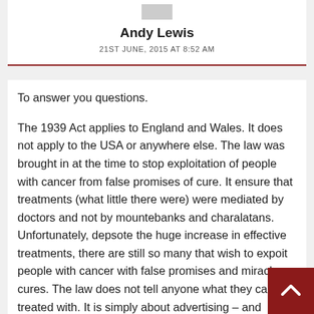Andy Lewis
21ST JUNE, 2015 AT 8:52 AM
To answer you questions.
The 1939 Act applies to England and Wales. It does not apply to the USA or anywhere else. The law was brought in at the time to stop exploitation of people with cancer from false promises of cure. It ensure that treatments (what little there were) were mediated by doctors and not by mountebanks and charalatans. Unfortunately, depsote the huge increase in effective treatments, there are still so many that wish to expoit people with cancer with false promises and miracle cures. The law does not tell anyone what they can be treated with. It is simply about advertising – and applies equally to real and quack treatments.